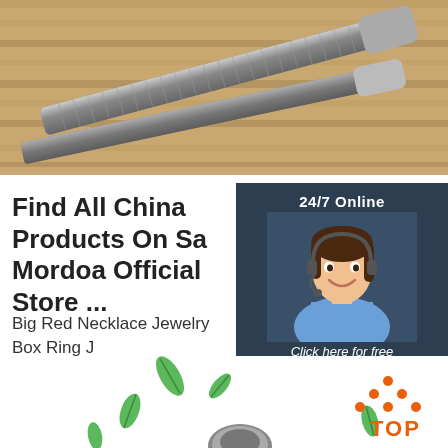[Figure (photo): Product photo showing metal files/tools on wooden surface]
Find All China Products On Sa Mordoa Official Store ...
Big Red Necklace Jewelry Box Ring J Jewelry... US $35.90 piece. US $35.46
[Figure (infographic): 24/7 Online live chat widget with female customer service agent wearing headset, 'Click here for free chat!' text and QUOTATION button]
Get Price
[Figure (infographic): Bottom section with green leaf decorations, a circular metal product, and a TOP navigation button in orange/red dots style]